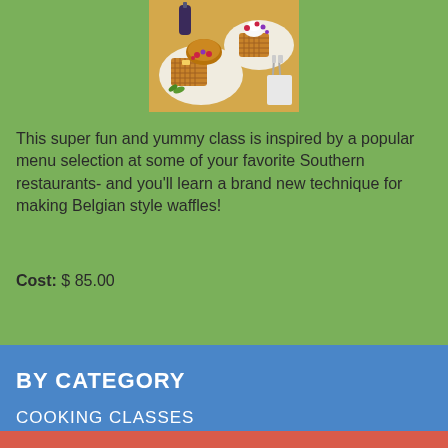[Figure (photo): Photo of Belgian waffles with fried chicken, berries, and whipped cream on plates, with a bottle of syrup and cutlery in background]
This super fun and yummy class is inspired by a popular menu selection at some of your favorite Southern restaurants- and you'll learn a brand new technique for making Belgian style waffles!
Cost: $ 85.00
BY CATEGORY
COOKING CLASSES